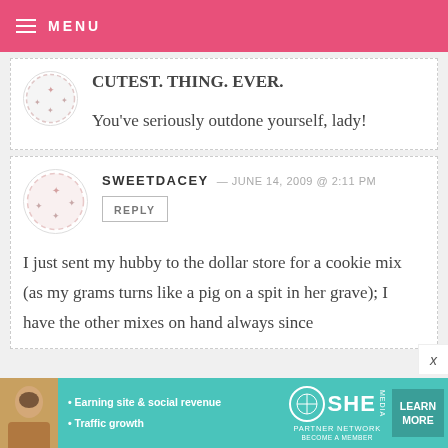MENU
CUTEST. THING. EVER.

You've seriously outdone yourself, lady!
SWEETDACEY — JUNE 14, 2009 @ 2:11 PM
REPLY
I just sent my hubby to the dollar store for a cookie mix (as my grams turns like a pig on a spit in her grave); I have the other mixes on hand always since
[Figure (infographic): SHE Partner Network advertisement banner with learn more button]